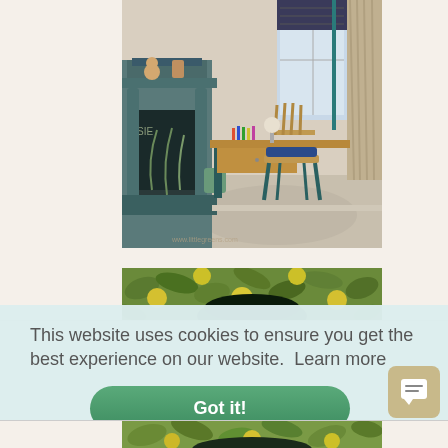[Figure (photo): Interior room photo showing a teal/green ornate fireplace on the left with a chalkboard panel, a wooden desk with art supplies, a wooden chair with blue cushion, roman blinds on a window, and linen curtains. The fireplace mantel has stuffed animal toys. Watermark visible at bottom.]
[Figure (photo): Partial view of a botanical/wallpaper pattern featuring green foliage and yellow fruits/lemons, with a dark circular object (possibly a vase or bowl) in the center.]
This website uses cookies to ensure you get the best experience on our website.  Learn more
Got it!
[Figure (photo): Bottom strip of the same botanical/wallpaper photo with green foliage and yellow fruits pattern.]